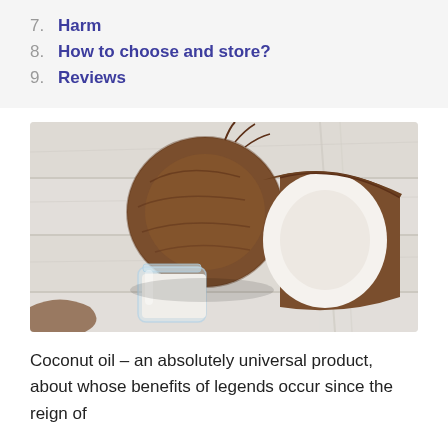7. Harm
8. How to choose and store?
9. Reviews
[Figure (photo): A whole coconut and a halved coconut showing white interior, with a small glass jar of coconut oil, all arranged on a white wooden surface.]
Coconut oil – an absolutely universal product, about whose benefits of legends occur since the reign of